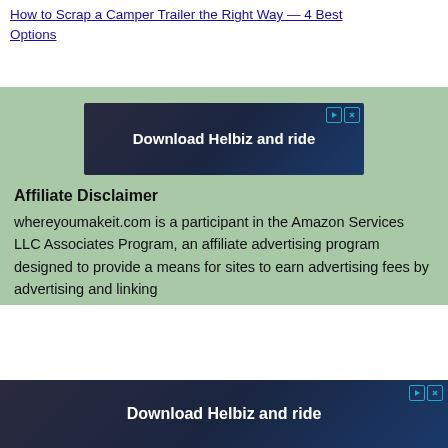How to Scrap a Camper Trailer the Right Way — 4 Best Options
[Figure (screenshot): Advertisement banner: Download Helbiz and ride, with play and close buttons]
Affiliate Disclaimer
whereyoumakeit.com is a participant in the Amazon Services LLC Associates Program, an affiliate advertising program designed to provide a means for sites to earn advertising fees by advertising and linking
[Figure (screenshot): Bottom advertisement banner: Download Helbiz and ride, with play and close buttons]